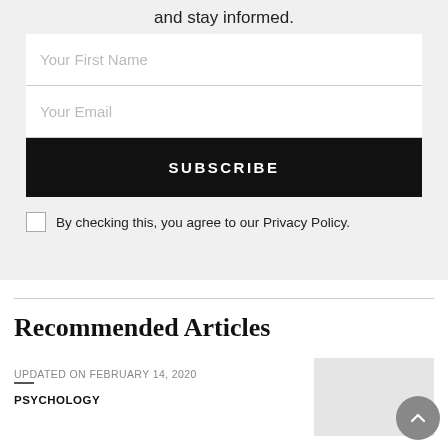and stay informed.
[Figure (other): Newsletter subscription form with fields for First Name and Email, a black SUBSCRIBE button, and a privacy policy checkbox]
By checking this, you agree to our Privacy Policy.
Recommended Articles
UPDATED ON FEBRUARY 14, 2020
PSYCHOLOGY